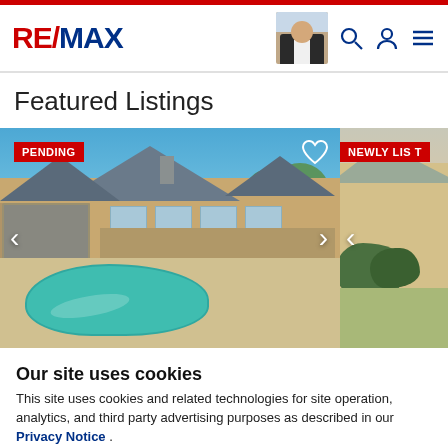RE/MAX
Featured Listings
[Figure (photo): House with swimming pool and blue sky, labeled PENDING]
[Figure (photo): Partially visible house exterior, labeled NEWLY LISTED]
Our site uses cookies
This site uses cookies and related technologies for site operation, analytics, and third party advertising purposes as described in our Privacy Notice .
ACCEPT